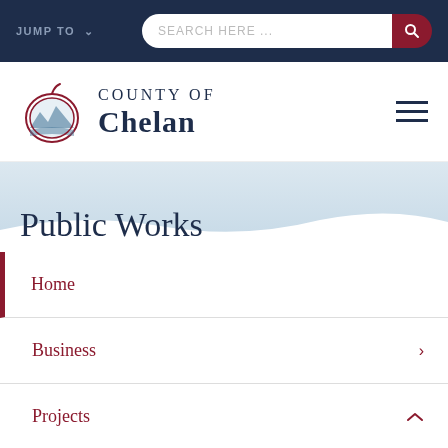JUMP TO  SEARCH HERE...
[Figure (logo): County of Chelan logo with apple and mountain scene]
Public Works
Home
Business
Projects
Departments
Historical Bridges